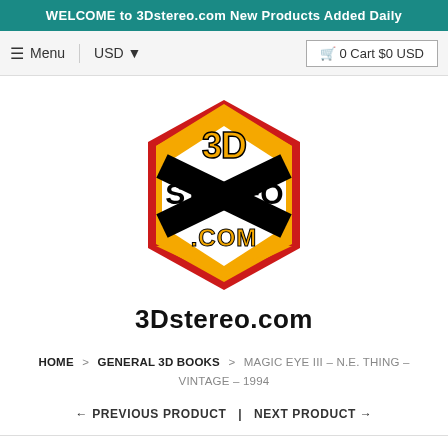WELCOME to 3Dstereo.com New Products Added Daily
≡ Menu   USD ▾   🛒 0 Cart $0 USD
[Figure (logo): 3Dstereo.com logo: a 3D cube/hexagon shape with orange and red colors, black bold text reading '3D STEREO .COM']
3Dstereo.com
HOME > GENERAL 3D BOOKS > MAGIC EYE III – N.E. THING – VINTAGE – 1994
← PREVIOUS PRODUCT  |  NEXT PRODUCT →